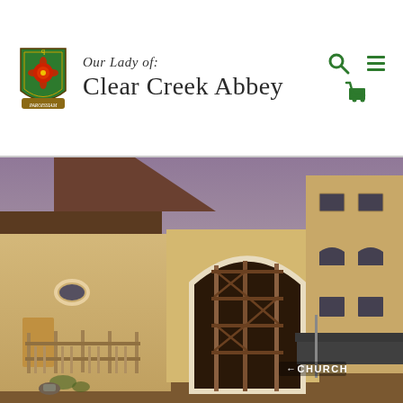[Figure (logo): Our Lady of Clear Creek Abbey shield logo — green shield shape with a red floral emblem, decorative scroll at bottom, gold/red accents]
Our Lady of:
Clear Creek Abbey
[Figure (photo): Photograph of Clear Creek Abbey church building under construction, showing scaffolding around an arched entrance, yellow/tan stucco walls, a tall multi-story adjacent building, and a sign reading ← CHURCH in the foreground]